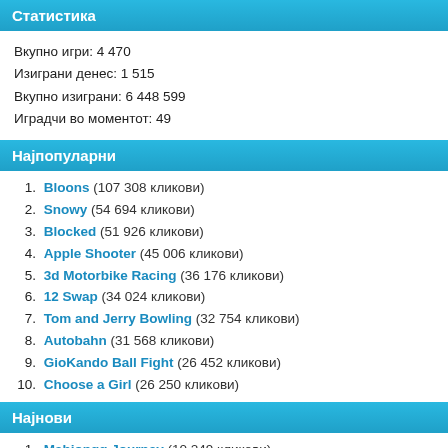Статистика
Вкупно игри: 4 470
Изиграни денес: 1 515
Вкупно изиграни: 6 448 599
Играчи во моментот: 49
Најпопуларни
1. Bloons (107 308 кликови)
2. Snowy (54 694 кликови)
3. Blocked (51 926 кликови)
4. Apple Shooter (45 006 кликови)
5. 3d Motorbike Racing (36 176 кликови)
6. 12 Swap (34 024 кликови)
7. Tom and Jerry Bowling (32 754 кликови)
8. Autobahn (31 568 кликови)
9. GioKando Ball Fight (26 452 кликови)
10. Choose a Girl (26 250 кликови)
Најнови
1. Mahjongg Journey (10 249 кликови)
2. Coloring for Kids (9 963 кликови)
3. Mahjong Connect Jungle (10 381 кликови)